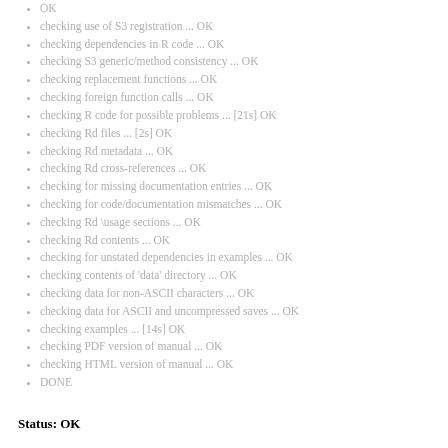OK
checking use of S3 registration ... OK
checking dependencies in R code ... OK
checking S3 generic/method consistency ... OK
checking replacement functions ... OK
checking foreign function calls ... OK
checking R code for possible problems ... [21s] OK
checking Rd files ... [2s] OK
checking Rd metadata ... OK
checking Rd cross-references ... OK
checking for missing documentation entries ... OK
checking for code/documentation mismatches ... OK
checking Rd \usage sections ... OK
checking Rd contents ... OK
checking for unstated dependencies in examples ... OK
checking contents of 'data' directory ... OK
checking data for non-ASCII characters ... OK
checking data for ASCII and uncompressed saves ... OK
checking examples ... [14s] OK
checking PDF version of manual ... OK
checking HTML version of manual ... OK
DONE
Status: OK